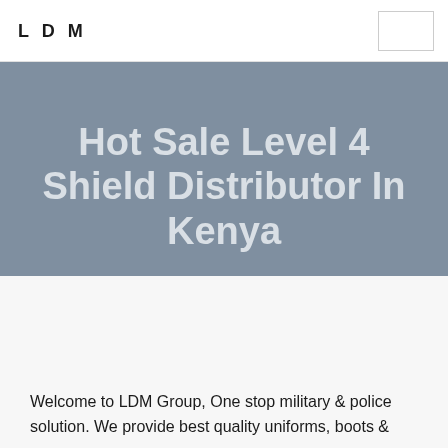LDM
Hot Sale Level 4 Shield Distributor In Kenya
Welcome to LDM Group, One stop military & police solution. We provide best quality uniforms, boots &